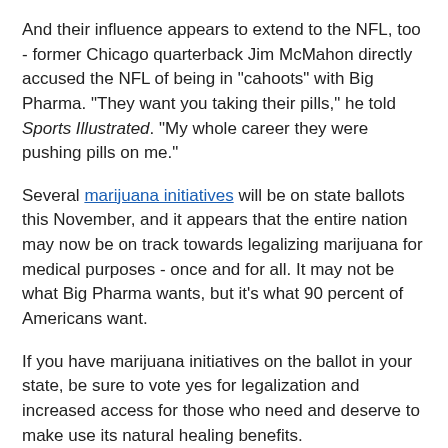And their influence appears to extend to the NFL, too - former Chicago quarterback Jim McMahon directly accused the NFL of being in "cahoots" with Big Pharma. "They want you taking their pills," he told Sports Illustrated. "My whole career they were pushing pills on me."
Several marijuana initiatives will be on state ballots this November, and it appears that the entire nation may now be on track towards legalizing marijuana for medical purposes - once and for all. It may not be what Big Pharma wants, but it's what 90 percent of Americans want.
If you have marijuana initiatives on the ballot in your state, be sure to vote yes for legalization and increased access for those who need and deserve to make use its natural healing benefits.